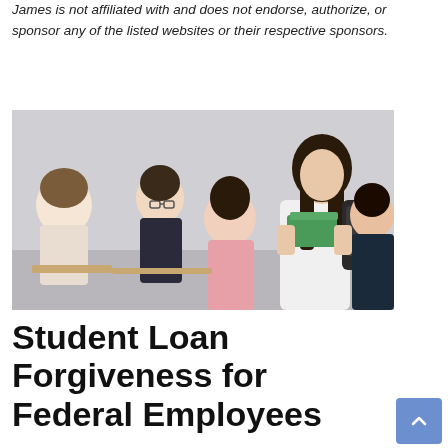James is not affiliated with and does not endorse, authorize, or sponsor any of the listed websites or their respective sponsors.
[Figure (photo): Students in a classroom setting; a young woman standing in the foreground holding green books and wearing a backpack, with other students seated behind her.]
Student Loan Forgiveness for Federal Employees